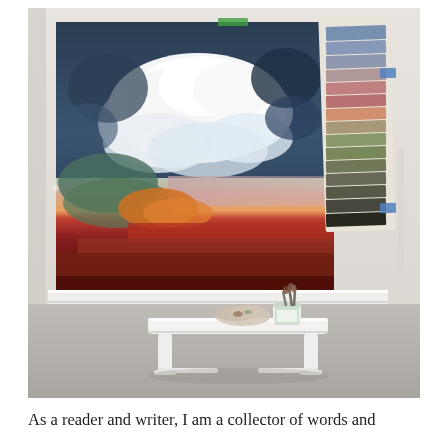[Figure (photo): Artist studio photograph showing a large abstract painting with billowing white clouds above layers of colorful paint strokes (teal, red, orange, dark red), leaning against a white wall on a shelf. To the right hangs a paint color swatch card with horizontal strips of blues, pinks, greens, and earth tones. A white wooden bench sits in the foreground with paint-stained rags and a can of brushes on top. The floor is bare concrete.]
As a reader and writer, I am a collector of words and